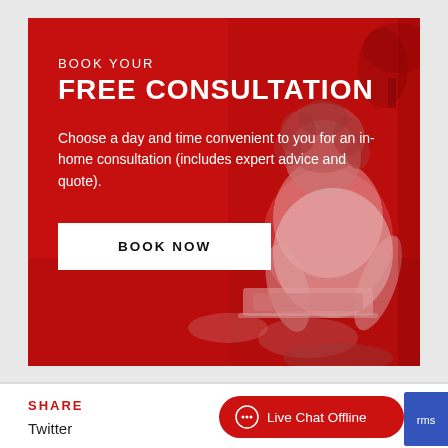[Figure (photo): Red-tinted promotional banner with a woman sitting on the floor using a laptop, overlaid with text and a call-to-action button]
BOOK YOUR FREE CONSULTATION
Choose a day and time convenient to you for an in-home consultation (includes expert advice and quote).
BOOK NOW
SHARE
Twitter
Live Chat Offline